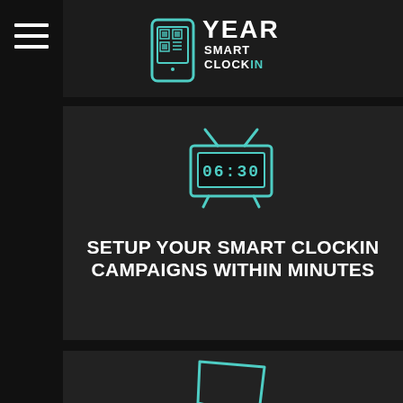[Figure (logo): Year Smart ClockIn logo with smartphone/QR graphic, teal and white text on dark background]
[Figure (illustration): Teal outlined retro TV/clock icon showing time 06:30 in digital display style]
SETUP YOUR SMART CLOCKIN CAMPAIGNS WITHIN MINUTES
[Figure (illustration): Teal outlined speech bubble / chat icon, partially visible at bottom of page]